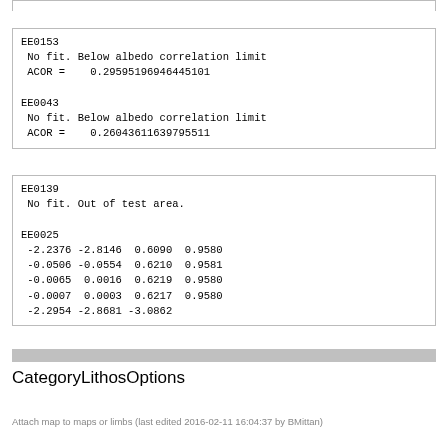EE0153
 No fit. Below albedo correlation limit
 ACOR =    0.29595196946445101

EE0043
 No fit. Below albedo correlation limit
 ACOR =    0.26043611639795511
EE0139
 No fit. Out of test area.

EE0025
 -2.2376 -2.8146  0.6090  0.9580
 -0.0506 -0.0554  0.6210  0.9581
 -0.0065  0.0016  0.6219  0.9580
 -0.0007  0.0003  0.6217  0.9580
 -2.2954 -2.8681 -3.0862
CategoryLithosOptions
Attach map to maps or limbs (last edited 2016-02-11 16:04:37 by BMittan)